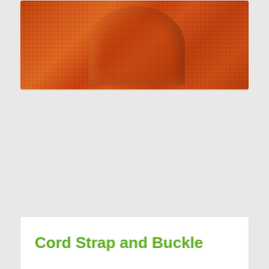[Figure (photo): Close-up photo of orange/red woven polyester cord straps rolled into cylindrical rolls, showing the woven mesh texture]
Cord Strap and Buckle
Cord Straps is referred to as synthetic steel, made of high strength polyester filament yarns, can well bind and fix scattered bundles of goods, making their transport more secure and fast...